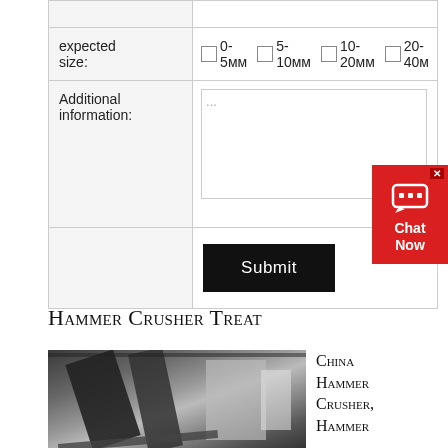| Field | Value |
| --- | --- |
| expected size: | 0-5мм  5-10мм  10-20мм  20-40мм |
| Additional information: | ... |
|  | Submit |
[Figure (screenshot): Chat Now widget — red button with speech bubble icon and close X]
Hammer Crusher Treat
[Figure (photo): Photo of a hammer crusher machine in an industrial setting]
China Hammer Crusher, Hammer